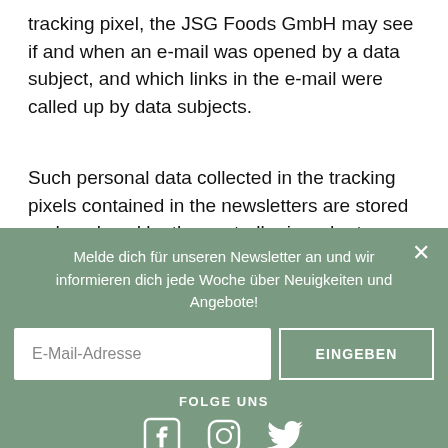tracking pixel, the JSG Foods GmbH may see if and when an e-mail was opened by a data subject, and which links in the e-mail were called up by data subjects.
Such personal data collected in the tracking pixels contained in the newsletters are stored and analyzed by the controller in order to optimize the
Melde dich für unseren Newsletter an und wir informieren dich jede Woche über Neuigkeiten und Angebote!
E-Mail-Adresse
EINGEBEN
FOLGE UNS